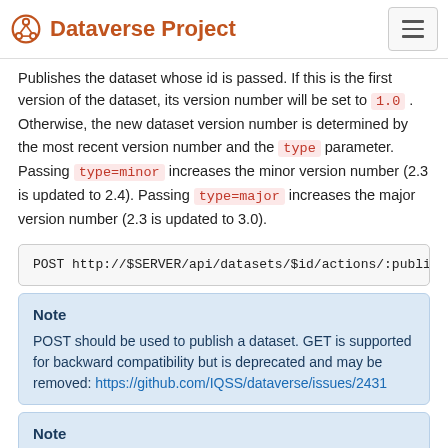Dataverse Project
Publishes the dataset whose id is passed. If this is the first version of the dataset, its version number will be set to 1.0 . Otherwise, the new dataset version number is determined by the most recent version number and the type parameter. Passing type=minor increases the minor version number (2.3 is updated to 2.4). Passing type=major increases the major version number (2.3 is updated to 3.0).
POST http://$SERVER/api/datasets/$id/actions/:publis
Note
POST should be used to publish a dataset. GET is supported for backward compatibility but is deprecated and may be removed: https://github.com/IQSS/dataverse/issues/2431
Note
When there are no default workflows, a successful publication process will result in 200 OK response. When there are workflows, it is impossible for Dataverse to know how long they